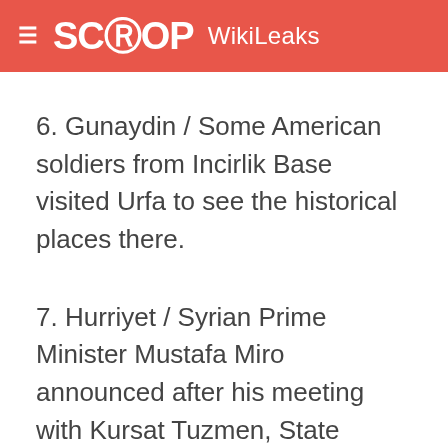SCOOP WikiLeaks
6. Gunaydin / Some American soldiers from Incirlik Base visited Urfa to see the historical places there.
7. Hurriyet / Syrian Prime Minister Mustafa Miro announced after his meeting with Kursat Tuzmen, State Secretary that they are going to open a consulate in Gaziantep.
HART